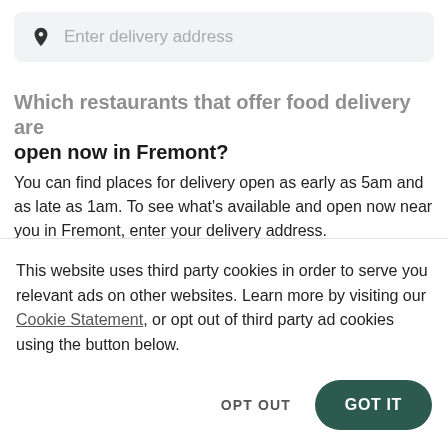[Figure (screenshot): Search bar with location pin icon and placeholder text 'Enter delivery address' on a light gray background]
Which restaurants that offer food delivery are open now in Fremont?
You can find places for delivery open as early as 5am and as late as 1am. To see what's available and open now near you in Fremont, enter your delivery address.
What are my options for healthy food delivery in Fremont?
This website uses third party cookies in order to serve you relevant ads on other websites. Learn more by visiting our Cookie Statement, or opt out of third party ad cookies using the button below.